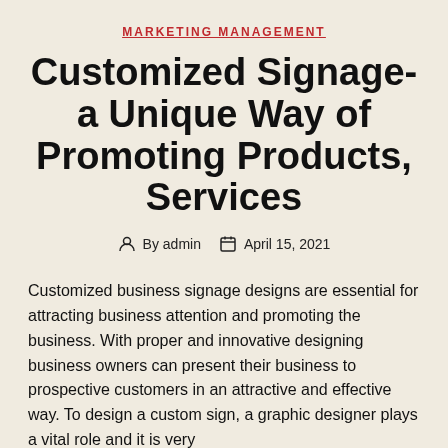MARKETING MANAGEMENT
Customized Signage- a Unique Way of Promoting Products, Services
By admin   April 15, 2021
Customized business signage designs are essential for attracting business attention and promoting the business. With proper and innovative designing business owners can present their business to prospective customers in an attractive and effective way. To design a custom sign, a graphic designer plays a vital role and it is very